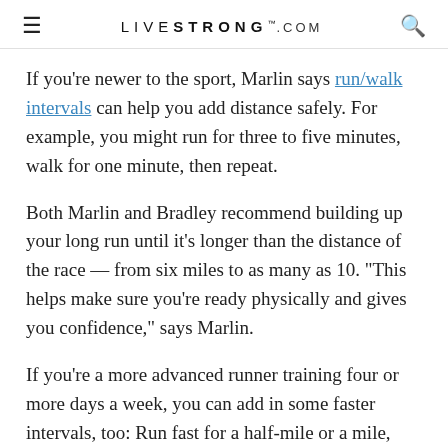LIVESTRONG.COM
If you're newer to the sport, Marlin says run/walk intervals can help you add distance safely. For example, you might run for three to five minutes, walk for one minute, then repeat.
Both Marlin and Bradley recommend building up your long run until it's longer than the distance of the race — from six miles to as many as 10. "This helps make sure you're ready physically and gives you confidence," says Marlin.
If you're a more advanced runner training four or more days a week, you can add in some faster intervals, too: Run fast for a half-mile or a mile, then jog easy in between.